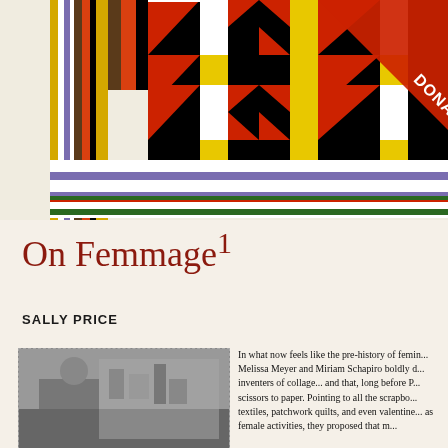[Figure (photo): Colorful geometric quilt with bold patterns in yellow, red, black, white, green, and purple stripes and triangles. A 'DONATE' ribbon appears in the top-right corner.]
On Femmage¹
SALLY PRICE
[Figure (photo): Black and white photograph of a person working on what appears to be artwork or crafts in a cluttered studio or workspace.]
In what now feels like the pre-history of femin... Melissa Meyer and Miriam Schapiro boldly d... inventers of collage... and that, long before P... scissors to paper. Pointing to all the scrapbo... textiles, patchwork quilts, and even valentine... as female activities, they proposed that m...